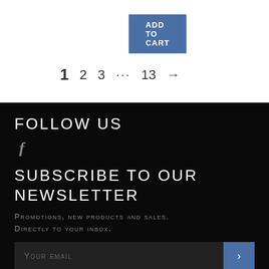[Figure (other): ADD TO CART button, blue rounded rectangle]
1  2  3  …  13  →
FOLLOW US
f
SUBSCRIBE TO OUR NEWSLETTER
Promotions, new products and sales. Directly to your inbox.
Your email